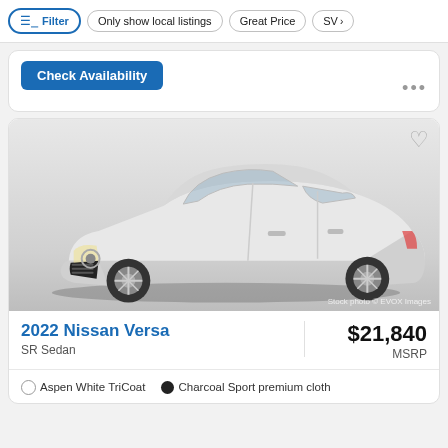Filter | Only show local listings | Great Price | SV
Check Availability
[Figure (photo): White 2022 Nissan Versa SR Sedan front 3/4 view stock photo]
2022 Nissan Versa
SR Sedan
$21,840
MSRP
Aspen White TriCoat   Charcoal Sport premium cloth